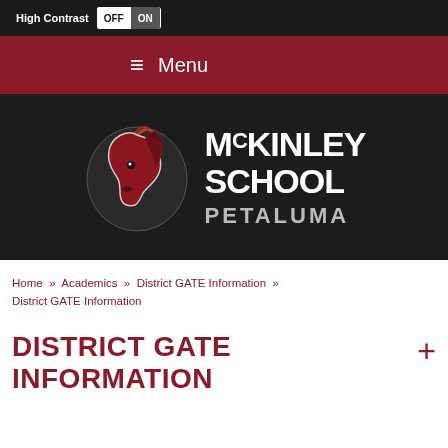High Contrast OFF ON
≡ Menu
[Figure (logo): McKinley School Petaluma logo with red horse mascot on dark background]
Home » Academics » District GATE Information » District GATE Information
DISTRICT GATE INFORMATION